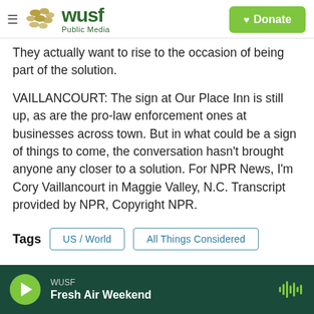WUSF Public Media | Donate
They actually want to rise to the occasion of being part of the solution.
VAILLANCOURT: The sign at Our Place Inn is still up, as are the pro-law enforcement ones at businesses across town. But in what could be a sign of things to come, the conversation hasn't brought anyone any closer to a solution. For NPR News, I'm Cory Vaillancourt in Maggie Valley, N.C. Transcript provided by NPR, Copyright NPR.
Tags  US / World  All Things Considered
WUSF  Fresh Air Weekend